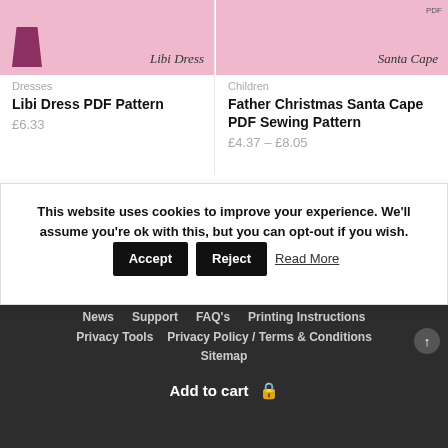[Figure (photo): Product image of Libi Dress with pink background and cursive text 'Libi Dress']
Dresses
Libi Dress PDF Pattern
£6.33
[Figure (photo): Product image of Santa Cape with pink background and cursive text 'PDF Santa Cape']
Children
Father Christmas Santa Cape PDF Sewing Pattern
£4.37 – £8.05
This website uses cookies to improve your experience. We'll assume you're ok with this, but you can opt-out if you wish.  Accept  Reject  Read More
©2022 The Tailoress All rights reserved
News  Support  FAQ's  Printing Instructions
Privacy Tools  Privacy Policy / Terms & Conditions
Sitemap
Add to cart
Add to cart